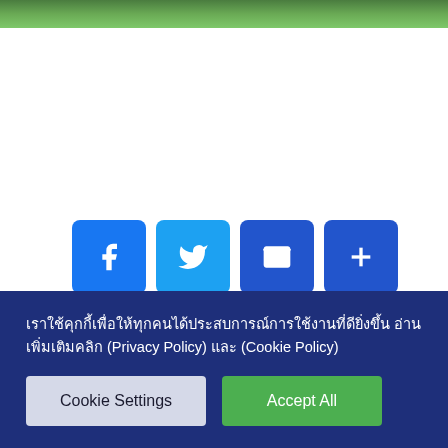[Figure (photo): Green grass field image at the top of the page]
Facebook share button
Twitter share button
Email share button
More share options button
พรีเมียร์ลีก เลสเตอร์ ซิตี้ 1-0 ลิเวอร์พูล
พรีเมียร์ลีก ลิเวอร์พูล 2-0 เลสเตอร์ ซิตี้
เราใช้คุกกี้เพื่อให้ทุกคนได้ประสบการณ์การใช้งานที่ดียิ่งขึ้น อ่านเพิ่มเติมคลิก (Privacy Policy) และ (Cookie Policy)
Cookie Settings
Accept All